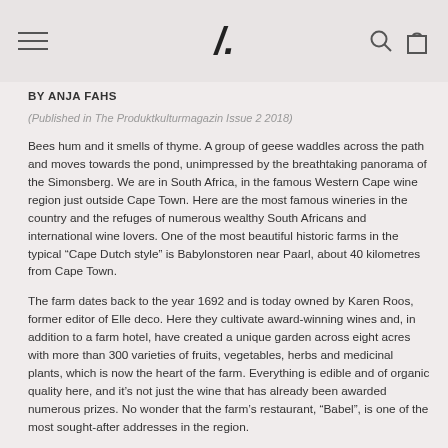/ (logo) navigation header
BY ANJA FAHS
(Published in The Produktkulturmagazin Issue 2 2018)
Bees hum and it smells of thyme. A group of geese waddles across the path and moves towards the pond, unimpressed by the breathtaking panorama of the Simonsberg. We are in South Africa, in the famous Western Cape wine region just outside Cape Town. Here are the most famous wineries in the country and the refuges of numerous wealthy South Africans and international wine lovers. One of the most beautiful historic farms in the typical “Cape Dutch style” is Babylonstoren near Paarl, about 40 kilometres from Cape Town.
The farm dates back to the year 1692 and is today owned by Karen Roos, former editor of Elle deco. Here they cultivate award-winning wines and, in addition to a farm hotel, have created a unique garden across eight acres with more than 300 varieties of fruits, vegetables, herbs and medicinal plants, which is now the heart of the farm. Everything is edible and of organic quality here, and it’s not just the wine that has already been awarded numerous prizes. No wonder that the farm’s restaurant, “Babel”, is one of the most sought-after addresses in the region.
Karen Roos’ love and flair for interior design can be seen everywhere at Babylonstoren. The hotel’s rooms are spread over 22 Cape Dutch thatched